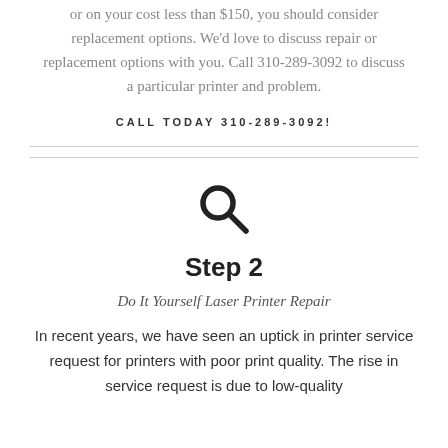or on your cost less than $150, you should consider replacement options. We'd love to discuss repair or replacement options with you. Call 310-289-3092 to discuss a particular printer and problem.
CALL TODAY 310-289-3092!
[Figure (illustration): Search magnifying glass icon]
Step 2
Do It Yourself Laser Printer Repair
In recent years, we have seen an uptick in printer service request for printers with poor print quality. The rise in service request is due to low-quality